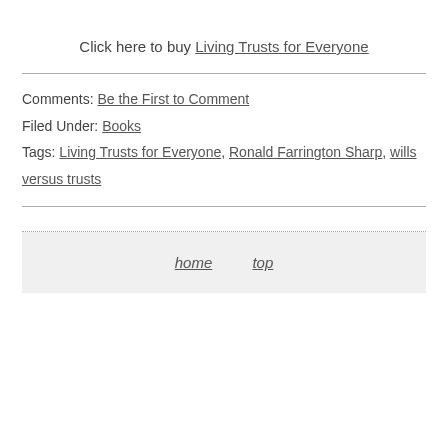Click here to buy Living Trusts for Everyone
Comments: Be the First to Comment
Filed Under: Books
Tags: Living Trusts for Everyone, Ronald Farrington Sharp, wills versus trusts
home    top